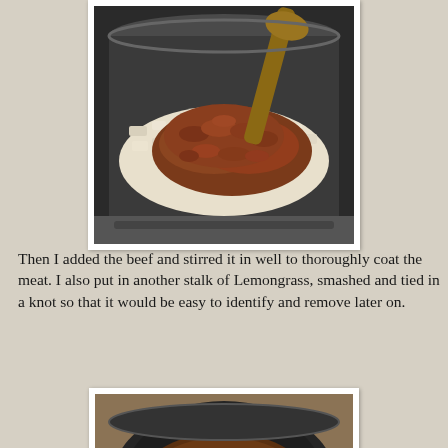[Figure (photo): Photo of a dark pot on a stove with cooked ground meat (brown/red) placed on top of diced white onions, with a wooden spoon visible in the background.]
Then I added the beef and stirred it in well to thoroughly coat the meat. I also put in another stalk of Lemongrass, smashed and tied in a knot so that it would be easy to identify and remove later on.
[Figure (photo): Photo of a dark pot on a stove containing beef cooking in a rich brown sauce with a wooden spoon visible, viewed from above at a slight angle.]